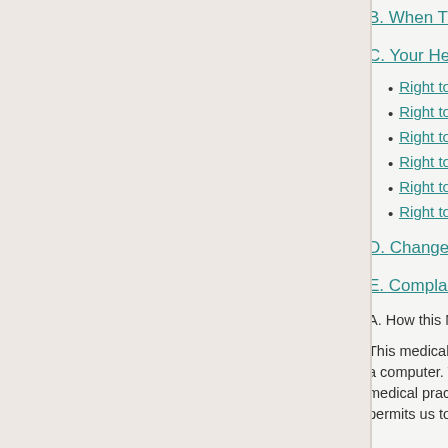B. When This
C. Your Healt
Right to
Right to
Right to
Right to
Right to
Right to
D. Changes to
E. Complaints
A. How this M
This medical p a computer. T medical pract permits us to